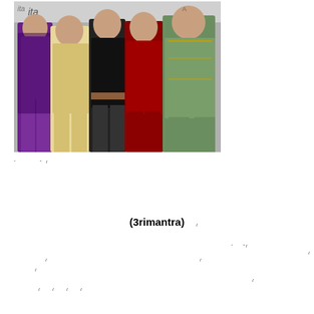[Figure (photo): Group photo of five women in colorful outfits at an event backdrop with text 'itaa' visible.]
“ ” /
“ ” / /
/
/ /
/
(3rimantra)
/
/
/ / / /